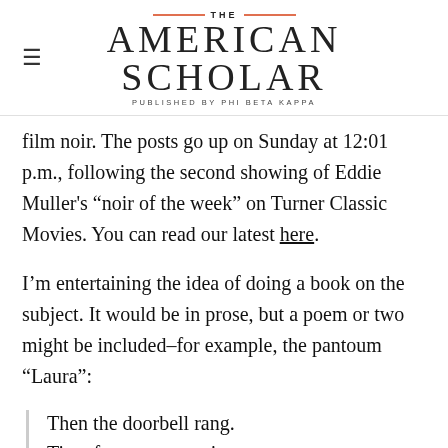THE AMERICAN SCHOLAR — PUBLISHED BY PHI BETA KAPPA
film noir. The posts go up on Sunday at 12:01 p.m., following the second showing of Eddie Muller's “noir of the week” on Turner Classic Movies. You can read our latest here.
I’m entertaining the idea of doing a book on the subject. It would be in prose, but a poem or two might be included–for example, the pantoum “Laura”:
Then the doorbell rang.
Time for one more cigarette.